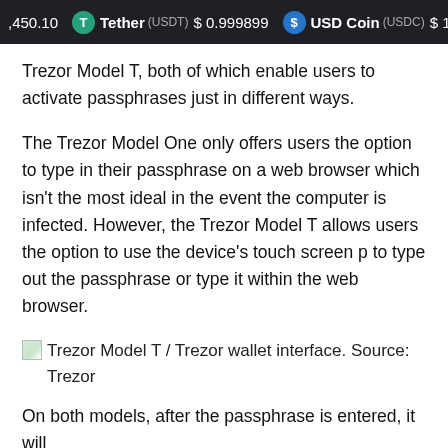,450.10  Tether (USDT) $0.999899  USD Coin (USDC) $1.0
Trezor Model T, both of which enable users to activate passphrases just in different ways.
The Trezor Model One only offers users the option to type in their passphrase on a web browser which isn't the most ideal in the event the computer is infected. However, the Trezor Model T allows users the option to use the device's touch screen p to type out the passphrase or type it within the web browser.
Trezor Model T / Trezor wallet interface. Source: Trezor
On both models, after the passphrase is entered, it will